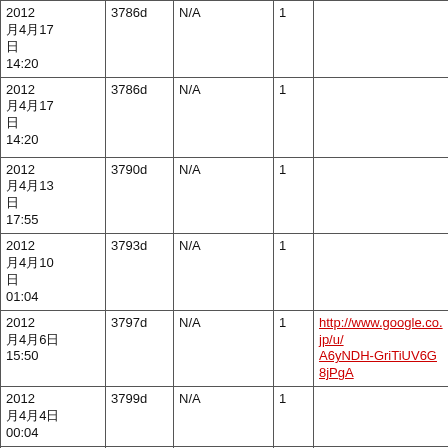| 2012
月4月17日
14:20 | 3786d | N/A | 1 |  |
| 2012
月4月17日
14:20 | 3786d | N/A | 1 |  |
| 2012
月4月13日
17:55 | 3790d | N/A | 1 |  |
| 2012
月4月10日
01:04 | 3793d | N/A | 1 |  |
| 2012
月4月6日
15:50 | 3797d | N/A | 1 | http://www.google.co.jp/u/…A6yNDH-GriTiUV6G8jPgA… |
| 2012
月4月4日
00:04 | 3799d | N/A | 1 |  |
| 2012
月4月2日 | 3801d | N/A | 1 |  |